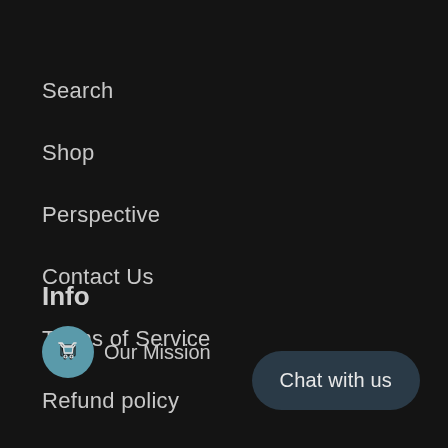Search
Shop
Perspective
Contact Us
Terms of Service
Refund policy
Info
Our Mission
Chat with us